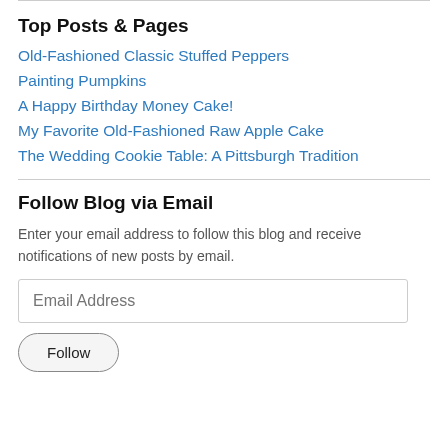Top Posts & Pages
Old-Fashioned Classic Stuffed Peppers
Painting Pumpkins
A Happy Birthday Money Cake!
My Favorite Old-Fashioned Raw Apple Cake
The Wedding Cookie Table: A Pittsburgh Tradition
Follow Blog via Email
Enter your email address to follow this blog and receive notifications of new posts by email.